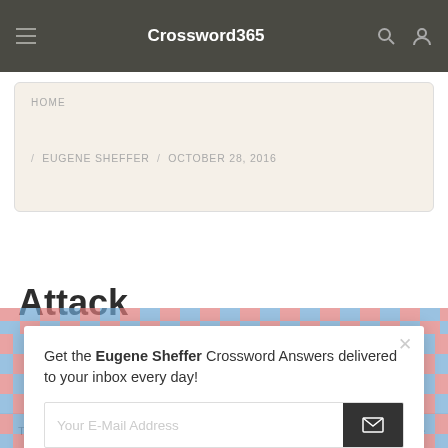Crossword365
HOME
/ EUGENE SHEFFER / OCTOBER 28, 2016
Attack
Get the Eugene Sheffer Crossword Answers delivered to your inbox every day!
Your E-Mail Address
This website uses cookies to ensure you get the best experience on our website